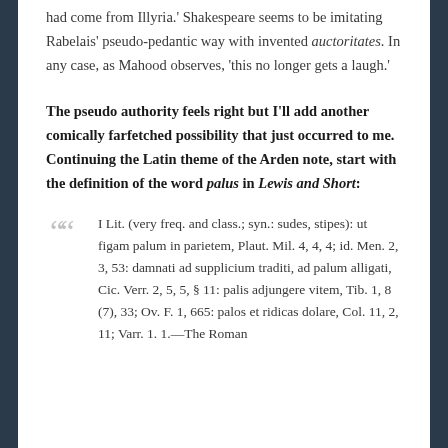had come from Illyria.' Shakespeare seems to be imitating Rabelais' pseudo-pedantic way with invented auctoritates. In any case, as Mahood observes, 'this no longer gets a laugh.'
The pseudo authority feels right but I'll add another comically farfetched possibility that just occurred to me. Continuing the Latin theme of the Arden note, start with the definition of the word palus in Lewis and Short:
I Lit. (very freq. and class.; syn.: sudes, stipes): ut figam palum in parietem, Plaut. Mil. 4, 4, 4; id. Men. 2, 3, 53: damnati ad supplicium traditi, ad palum alligati, Cic. Verr. 2, 5, 5, § 11: palis adjungere vitem, Tib. 1, 8 (7), 33; Ov. F. 1, 665: palos et ridicas dolare, Col. 11, 2, 11; Varr. 1. 1.—The Roman